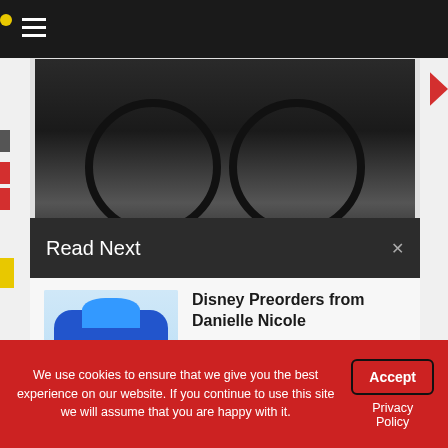[Figure (screenshot): Navigation bar with hamburger menu icon on dark background]
[Figure (photo): Partial view of dark Disney merchandise product from above]
Read Next
[Figure (photo): Blue Stitch character backpack from Danielle Nicole]
Disney Preorders from Danielle Nicole
June 13, 2020  0
[Figure (photo): Harambe Nights event at Disney's Animal Kingdom with performers in colorful costumes]
Harambe Nights Debuts Tonight at Disney's Animal
We use cookies to ensure that we give you the best experience on our website. If you continue to use this site we will assume that you are happy with it.
Accept
Privacy Policy